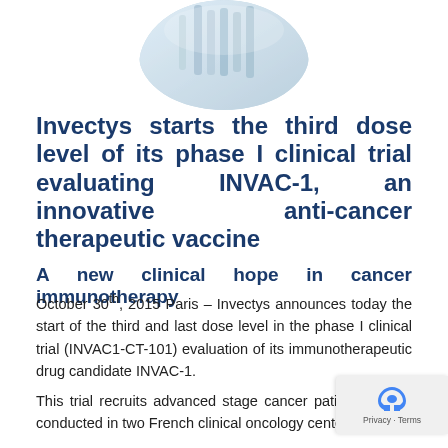[Figure (photo): Circular cropped photo of scientific/laboratory equipment, possibly vials or syringes, in blue-white tones]
Invectys starts the third dose level of its phase I clinical trial evaluating INVAC-1, an innovative anti-cancer therapeutic vaccine
A new clinical hope in cancer immunotherapy
October 30th, 2015 Paris – Invectys announces today the start of the third and last dose level in the phase I clinical trial (INVAC1-CT-101) evaluation of its immunotherapeutic drug candidate INVAC-1.
This trial recruits advanced stage cancer patients and is conducted in two French clinical oncology centers located